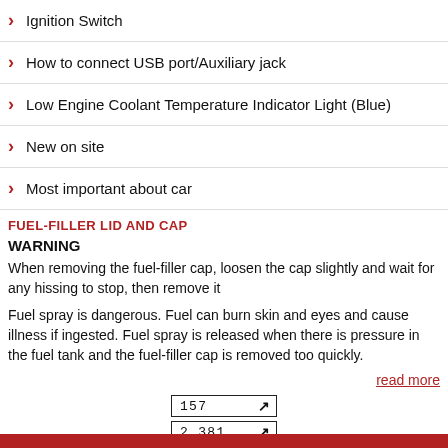Ignition Switch
How to connect USB port/Auxiliary jack
Low Engine Coolant Temperature Indicator Light (Blue)
New on site
Most important about car
FUEL-FILLER LID AND CAP
WARNING
When removing the fuel-filler cap, loosen the cap slightly and wait for any hissing to stop, then remove it
Fuel spray is dangerous. Fuel can burn skin and eyes and cause illness if ingested. Fuel spray is released when there is pressure in the fuel tank and the fuel-filler cap is removed too quickly.
read more
167
2 381